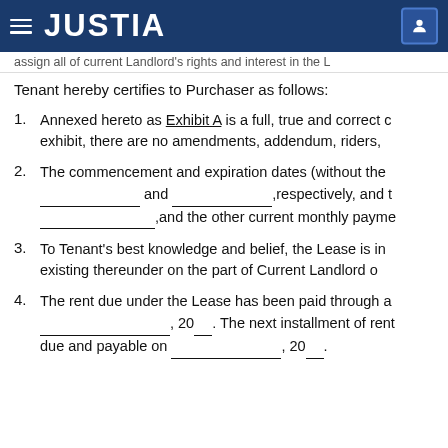JUSTIA
assign all of current Landlord's rights and interest in the L
Tenant hereby certifies to Purchaser as follows:
Annexed hereto as Exhibit A is a full, true and correct copy of the lease, as exhibit, there are no amendments, addendum, riders,
The commencement and expiration dates (without the ___________ and ___________,respectively, and the ___________,and the other current monthly payment
To Tenant's best knowledge and belief, the Lease is in existing thereunder on the part of Current Landlord or
The rent due under the Lease has been paid through a ___________________, 20__. The next installment of rent due and payable on _______________, 20__.